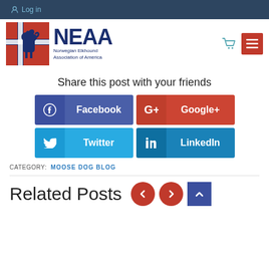Log in
[Figure (logo): NEAA Norwegian Elkhound Association of America logo with dog silhouette on red/blue background]
Share this post with your friends
Facebook
Google+
Twitter
LinkedIn
CATEGORY:  MOOSE DOG BLOG
Related Posts